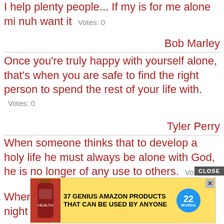I help plenty people... If my is for me alone mi nuh want it   Votes: 0
Bob Marley
Once you're truly happy with yourself alone, that's when you are safe to find the right person to spend the rest of your life with.   Votes: 0
Tyler Perry
When someone thinks that to develop a holy life he must always be alone with God, he is no longer of any use to others.   Votes: 0
[Figure (screenshot): Advertisement banner: '37 GENIUS AMAZON PRODUCTS THAT CAN BE USED BY ANYONE' with a bottle image and '22 Words' badge, CLOSE button overlay]
When life is difficult, try looking up at the night sky. A million stars proclaim aloud His